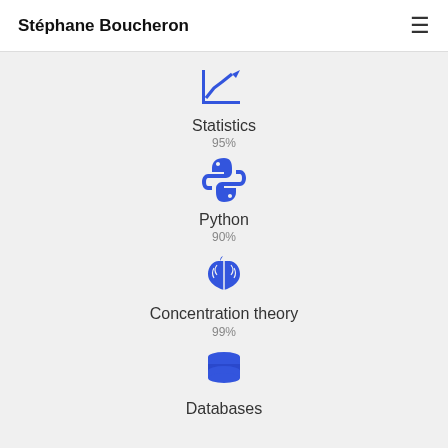Stéphane Boucheron
[Figure (illustration): Blue line chart icon with upward trend arrow]
Statistics
95%
[Figure (illustration): Blue Python programming language logo icon]
Python
90%
[Figure (illustration): Blue brain icon with upward arrow]
Concentration theory
99%
[Figure (illustration): Blue database/cylinder stack icon]
Databases